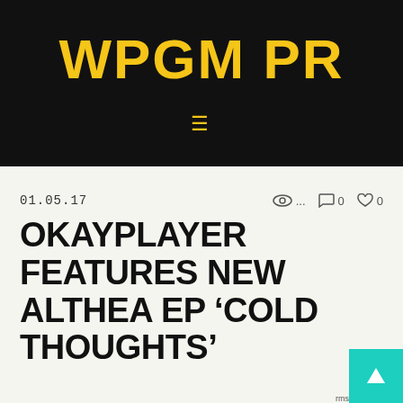WPGM PR
≡
01.05.17   👁 ...   💬 0   ♡ 0
OKAYPLAYER FEATURES NEW ALTHEA EP 'COLD THOUGHTS'